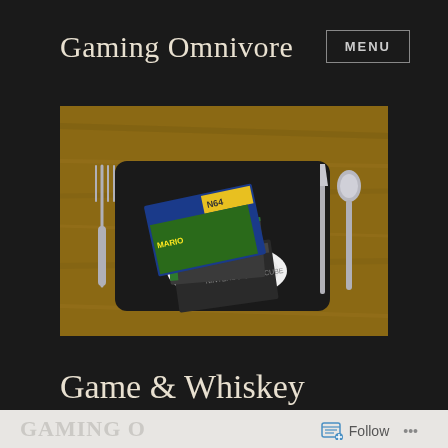Gaming Omnivore
MENU
[Figure (photo): A place setting on a wooden table with a black placemat. A white dinner plate holds stacked video game boxes (including what appears to be Mario and other games). A fork is on the left, and a knife and spoon are on the right.]
Game & Whiskey
Follow ...